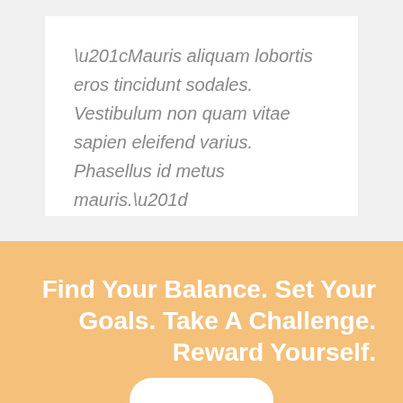“Mauris aliquam lobortis eros tincidunt sodales. Vestibulum non quam vitae sapien eleifend varius. Phasellus id metus mauris.”
Find Your Balance. Set Your Goals. Take A Challenge. Reward Yourself.